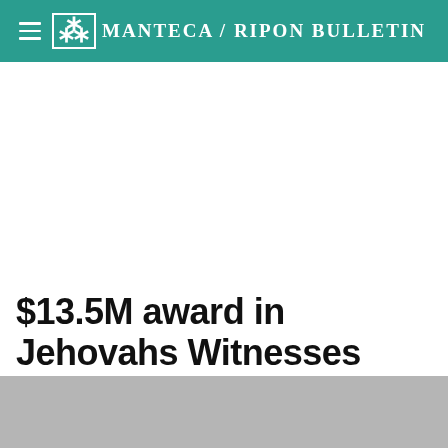Manteca / Ripon Bulletin
$13.5M award in Jehovahs Witnesses molest case
[Figure (photo): Gray placeholder image at bottom of page, partial view of a photo related to the article]